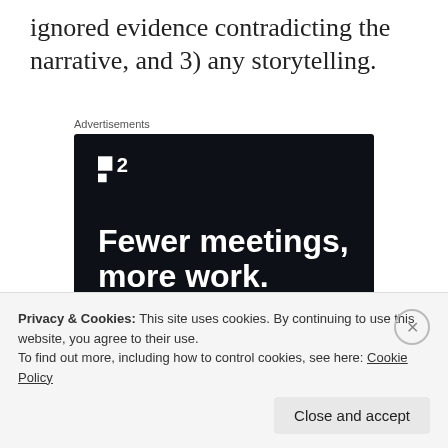ignored evidence contradicting the narrative, and 3) any storytelling.
Advertisements
[Figure (illustration): Advertisement for a project management / meeting tool. Dark navy background. Logo mark showing two squares and '2' text (Planio or similar). Headline: 'Fewer meetings, more work.' Button: 'Get started for free'.]
Privacy & Cookies: This site uses cookies. By continuing to use this website, you agree to their use.
To find out more, including how to control cookies, see here: Cookie Policy
Close and accept